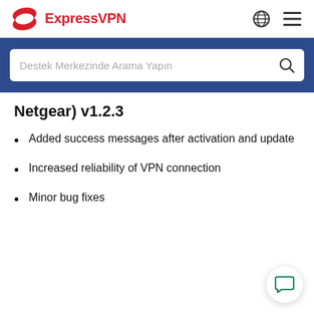ExpressVPN
Netgear) v1.2.3
Added success messages after activation and update
Increased reliability of VPN connection
Minor bug fixes